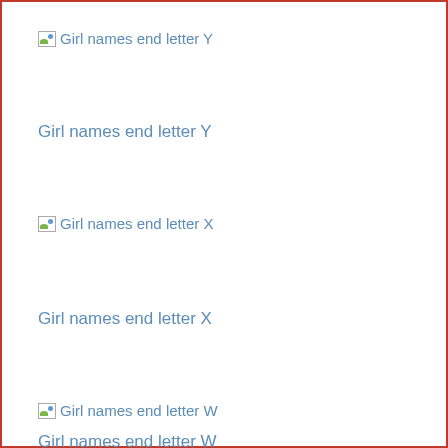[Figure (other): Broken image icon placeholder for 'Girl names end letter Y']
Girl names end letter Y
[Figure (other): Broken image icon placeholder for 'Girl names end letter X']
Girl names end letter X
[Figure (other): Broken image icon placeholder for 'Girl names end letter W']
Girl names end letter W